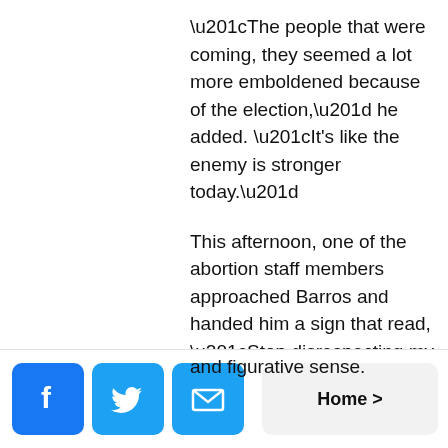“The people that were coming, they seemed a lot more emboldened because of the election,” he added. “It’s like the enemy is stronger today.”
This afternoon, one of the abortion staff members approached Barros and handed him a sign that read, “Stop disrespecting my president.”
“Its been a very cold day,” he
and figurative sense.